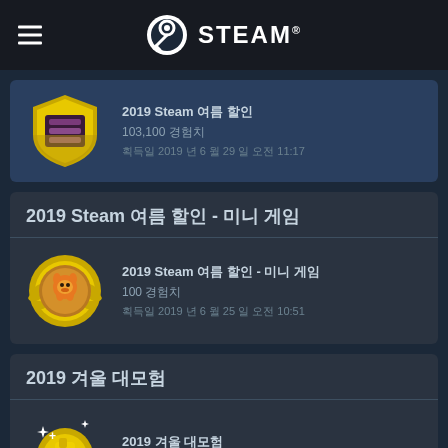STEAM®
[Figure (illustration): Gold shield badge with purple stacked coins/layers icon - 2019 Steam badge]
2019 Steam 여름 할인
103,100 경험치
획득일 2019 년 6 월 29 일 오전 11:17
2019 Steam 여름 할인 - 미니 게임
[Figure (illustration): Gold coin badge with animated dog/character in center - 2019 Steam Summer Sale mini game badge]
2019 Steam 여름 할인 - 미니 게임
100 경험치
획득일 2019 년 6 월 25 일 오전 10:51
2019 겨울 대모험
[Figure (illustration): Gold sparkle/trophy badge - 2019 Winter Adventure badge (partially visible)]
2019 겨울 대모험